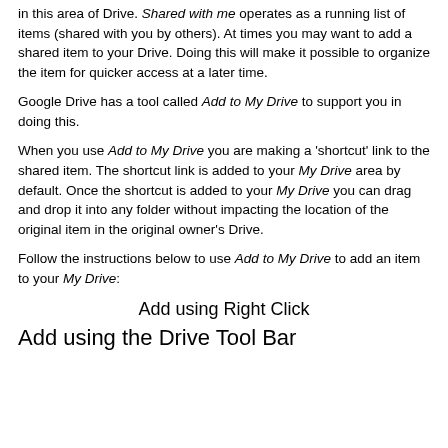in this area of Drive. Shared with me operates as a running list of items (shared with you by others). At times you may want to add a shared item to your Drive. Doing this will make it possible to organize the item for quicker access at a later time.
Google Drive has a tool called Add to My Drive to support you in doing this.
When you use Add to My Drive you are making a 'shortcut' link to the shared item. The shortcut link is added to your My Drive area by default. Once the shortcut is added to your My Drive you can drag and drop it into any folder without impacting the location of the original item in the original owner's Drive.
Follow the instructions below to use Add to My Drive to add an item to your My Drive:
Add using Right Click
Add using the Drive Tool Bar